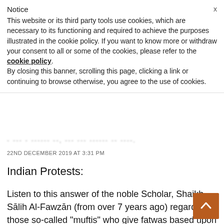Notice
This website or its third party tools use cookies, which are necessary to its functioning and required to achieve the purposes illustrated in the cookie policy. If you want to know more or withdraw your consent to all or some of the cookies, please refer to the cookie policy.
By closing this banner, scrolling this page, clicking a link or continuing to browse otherwise, you agree to the use of cookies.
- --- - ------ --, --- --- ------ -- ----.
22ND DECEMBER 2019 AT 3:31 PM
Indian Protests:
Listen to this answer of the noble Scholar, Shaikh Sālih Al-Fawzān (from over 7 years ago) regarding those so-called "muftis" who give fatwas based upon ignorance allowing the people to demonstrate in streets leading to corruption and harm in the Um.